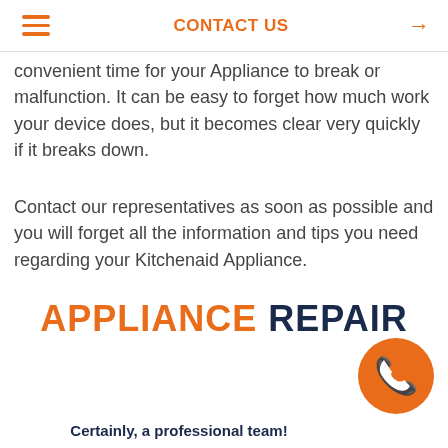CONTACT US →
convenient time for your Appliance to break or malfunction. It can be easy to forget how much work your device does, but it becomes clear very quickly if it breaks down.
Contact our representatives as soon as possible and you will forget all the information and tips you need regarding your Kitchenaid Appliance.
APPLIANCE REPAIR
[Figure (illustration): Orange circle with white telephone handset icon]
Certainly, a professional team!